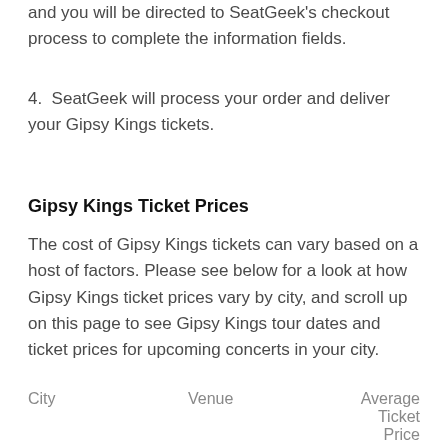and you will be directed to SeatGeek's checkout process to complete the information fields.
4.  SeatGeek will process your order and deliver your Gipsy Kings tickets.
Gipsy Kings Ticket Prices
The cost of Gipsy Kings tickets can vary based on a host of factors. Please see below for a look at how Gipsy Kings ticket prices vary by city, and scroll up on this page to see Gipsy Kings tour dates and ticket prices for upcoming concerts in your city.
| City | Venue | Average Ticket Price |
| --- | --- | --- |